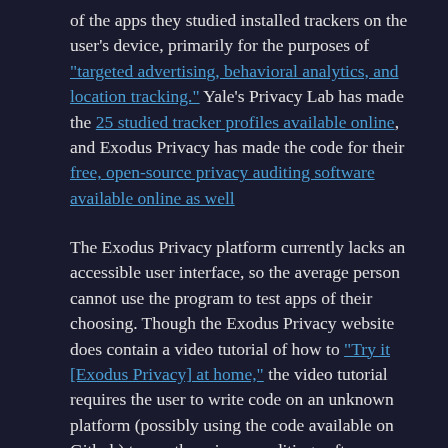of the apps they studied installed trackers on the user's device, primarily for the purposes of "targeted advertising, behavioral analytics, and location tracking." Yale's Privacy Lab has made the 25 studied tracker profiles available online, and Exodus Privacy has made the code for their free, open-source privacy auditing software available online as well
The Exodus Privacy platform currently lacks an accessible user interface, so the average person cannot use the program to test apps of their choosing. Though the Exodus Privacy website does contain a video tutorial of how to "Try it [Exodus Privacy] at home," the video tutorial requires the user to write code on an unknown platform (possibly using the code available on Github) to run the privacy auditing software, which requires some knowledge of computer science. Instead, the average person must rely on the reports generated on Exodus Privacy's website. Exodus Privacy's software automatically crawls through Google Play to update tracker and permission data for all the apps in its database, and is constantly